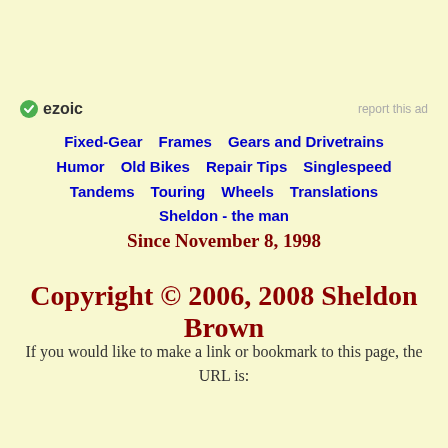[Figure (logo): Ezoic logo with green circular icon and text 'ezoic', plus 'report this ad' link on the right]
Fixed-Gear    Frames    Gears and Drivetrains
Humor    Old Bikes    Repair Tips    Singlespeed
Tandems    Touring    Wheels    Translations
Sheldon - the man
Since November 8, 1998
Copyright © 2006, 2008 Sheldon Brown
If you would like to make a link or bookmark to this page, the URL is: